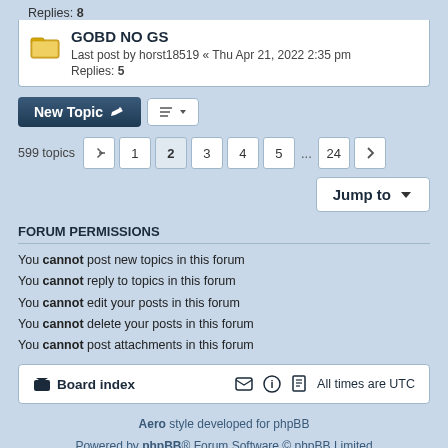Replies: 8
GOBD NO GS
Last post by horst18519 « Thu Apr 21, 2022 2:35 pm
Replies: 5
599 topics  1 2 3 4 5 ... 24
Jump to
FORUM PERMISSIONS
You cannot post new topics in this forum
You cannot reply to topics in this forum
You cannot edit your posts in this forum
You cannot delete your posts in this forum
You cannot post attachments in this forum
Board index   All times are UTC
Aero style developed for phpBB
Powered by phpBB® Forum Software © phpBB Limited
Privacy | Terms